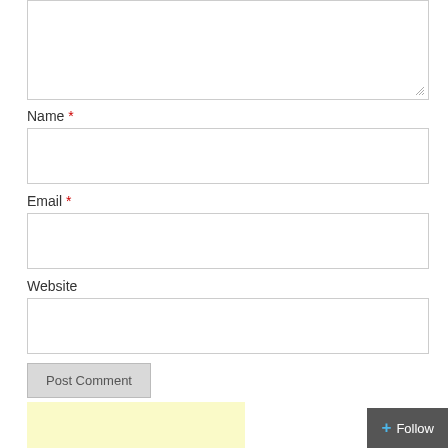[Figure (screenshot): Textarea input box (top portion cut off), partially visible comment form field]
Name *
[Figure (screenshot): Name text input field, empty]
Email *
[Figure (screenshot): Email text input field, empty]
Website
[Figure (screenshot): Website text input field, empty]
Post Comment
[Figure (screenshot): Yellow widget area partially visible at bottom left, and a dark Follow button at bottom right]